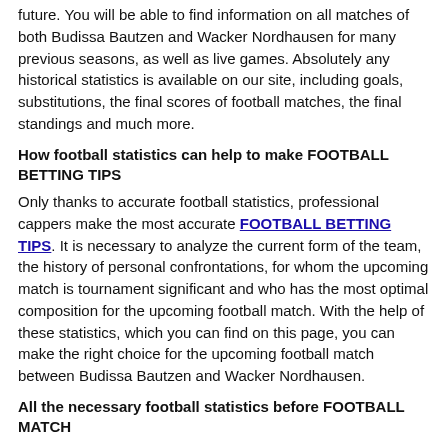future. You will be able to find information on all matches of both Budissa Bautzen and Wacker Nordhausen for many previous seasons, as well as live games. Absolutely any historical statistics is available on our site, including goals, substitutions, the final scores of football matches, the final standings and much more.
How football statistics can help to make FOOTBALL BETTING TIPS
Only thanks to accurate football statistics, professional cappers make the most accurate FOOTBALL BETTING TIPS. It is necessary to analyze the current form of the team, the history of personal confrontations, for whom the upcoming match is tournament significant and who has the most optimal composition for the upcoming football match. With the help of these statistics, which you can find on this page, you can make the right choice for the upcoming football match between Budissa Bautzen and Wacker Nordhausen.
All the necessary football statistics before FOOTBALL MATCH
Budissa Bautzen currently takes the 4 place on the Oberliga: Nordost-Süd standings and has 51 points scored. The last match they played on home [We use cookies ✕] ach with a score of 0 - 2.
In turn, Wacker Nordhausen takes the 15 place on the Oberliga: Nordost-Süd standings and has 29 points scored. Last match they